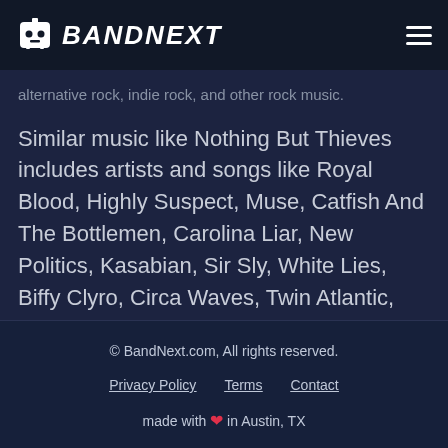BANDNEXT
alternative rock, indie rock, and other rock music.
Similar music like Nothing But Thieves includes artists and songs like Royal Blood, Highly Suspect, Muse, Catfish And The Bottlemen, Carolina Liar, New Politics, Kasabian, Sir Sly, White Lies, Biffy Clyro, Circa Waves, Twin Atlantic, Pvris, The Amazons, Civil Twilight, Foals,
© BandNext.com, All rights reserved.
Privacy Policy   Terms   Contact
made with ❤ in Austin, TX